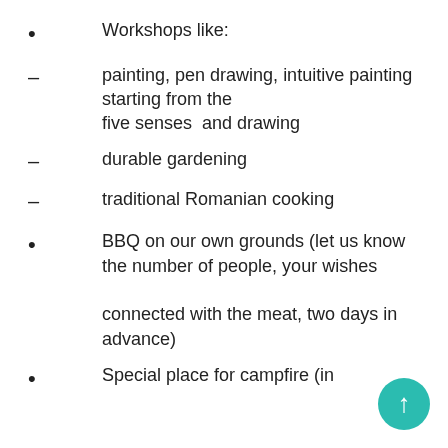Workshops like:
painting, pen drawing, intuitive painting starting from the five senses  and drawing
durable gardening
traditional Romanian cooking
BBQ on our own grounds (let us know the number of people, your wishes connected with the meat, two days in advance)
Special place for campfire (in